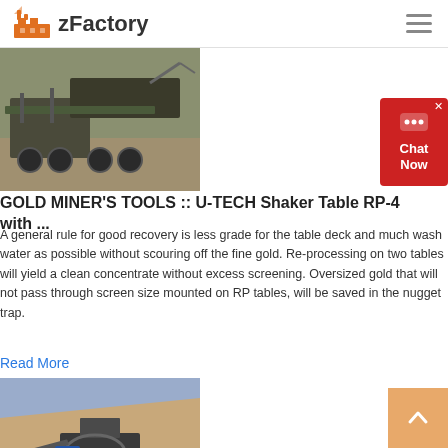zFactory
[Figure (photo): Mining shaker table equipment with conveyor belts and wheels on site]
GOLD MINER'S TOOLS :: U-TECH Shaker Table RP-4 with ...
A general rule for good recovery is less grade for the table deck and much wash water as possible without scouring off the fine gold. Re-processing on two tables will yield a clean concentrate without excess screening. Oversized gold that will not pass through screen size mounted on RP tables, will be saved in the nugget trap.
Read More
[Figure (photo): Gold washing plant and gold mining equipment at an open-pit site, showing trommel screen machinery]
Gold washing plant,Gold mining equipment,Trommel screen ...